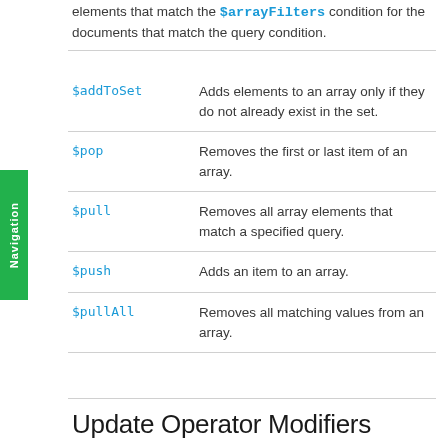elements that match the $arrayFilters condition for the documents that match the query condition.
| $addToSet | Adds elements to an array only if they do not already exist in the set. |
| $pop | Removes the first or last item of an array. |
| $pull | Removes all array elements that match a specified query. |
| $push | Adds an item to an array. |
| $pullAll | Removes all matching values from an array. |
Update Operator Modifiers